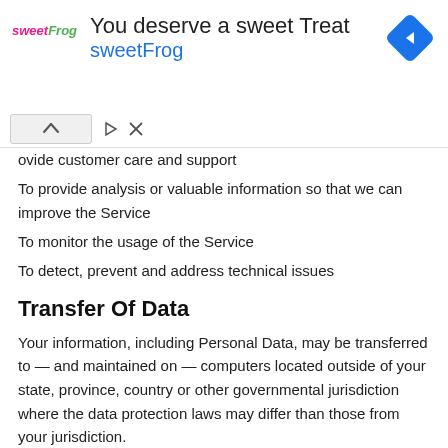[Figure (illustration): SweetFrog advertisement banner showing logo, 'You deserve a sweet Treat' headline, 'sweetFrog' subtext in blue, and a blue diamond-shaped navigation icon. Includes navigation arrow and close (X) controls below.]
ovide customer care and support
To provide analysis or valuable information so that we can improve the Service
To monitor the usage of the Service
To detect, prevent and address technical issues
Transfer Of Data
Your information, including Personal Data, may be transferred to — and maintained on — computers located outside of your state, province, country or other governmental jurisdiction where the data protection laws may differ than those from your jurisdiction.